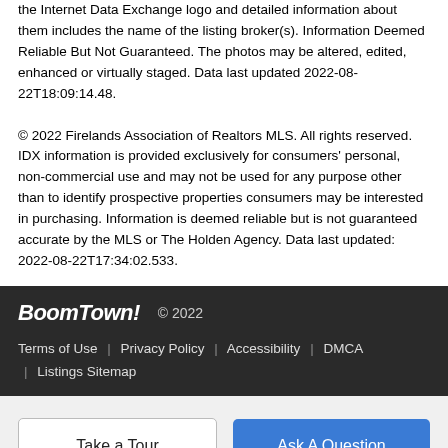the Internet Data Exchange logo and detailed information about them includes the name of the listing broker(s). Information Deemed Reliable But Not Guaranteed. The photos may be altered, edited, enhanced or virtually staged. Data last updated 2022-08-22T18:09:14.48.
© 2022 Firelands Association of Realtors MLS. All rights reserved. IDX information is provided exclusively for consumers' personal, non-commercial use and may not be used for any purpose other than to identify prospective properties consumers may be interested in purchasing. Information is deemed reliable but is not guaranteed accurate by the MLS or The Holden Agency. Data last updated: 2022-08-22T17:34:02.533.
BoomTown! © 2022 | Terms of Use | Privacy Policy | Accessibility | DMCA | Listings Sitemap
Take a Tour | Ask A Question